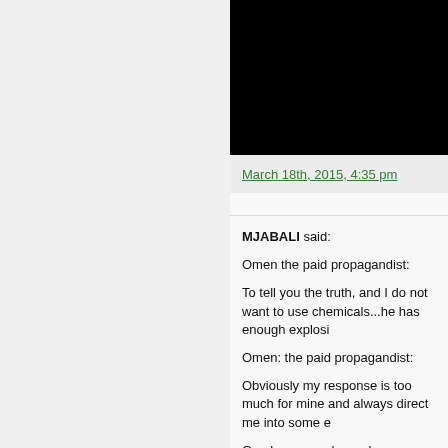[Figure (photo): Black rectangle representing a video or image thumbnail]
March 18th, 2015, 4:35 pm
MJABALI said:

Omen the paid propagandist:

To tell you the truth, and I do not want to use chemicals...he has enough explosives

Omen: the paid propagandist:

Obviously my response is too much for mine and always direct me into some e...

Go play somewhere else...

You trying to manipulate people's emoti...

Paid propagandists have the same bag...

What Syria need today is a political solu... going to further the misery of the Syrian...